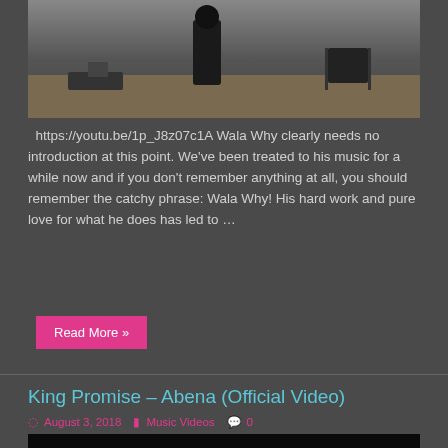[Figure (photo): Outdoor desert scene with a person dressed in black and a folding chair visible, equipment in foreground]
https://youtu.be/1p_J8z07c1A Wala Why clearly needs no introduction at this point. We've been treated to his music for a while now and if you don't remember anything at all, you should remember the catchy phrase: Wala Why! His hard work and pure love for what he does has led to …
Read More »
King Promise – Abena (Official Video)
August 3, 2018   Music Videos   0
[Figure (photo): Music video still showing two people near a tree with bare branches, outdoor setting]